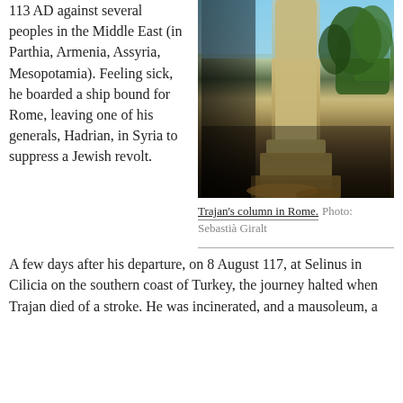113 AD against several peoples in the Middle East (in Parthia, Armenia, Assyria, Mesopotamia). Feeling sick, he boarded a ship bound for Rome, leaving one of his generals, Hadrian, in Syria to suppress a Jewish revolt. A few days after his departure, on 8 August 117, at Selinus in Cilicia on the southern coast of Turkey, the journey halted when Trajan died of a stroke. He was incinerated, and a mausoleum, a
[Figure (photo): Trajan's column in Rome, a tall ancient Roman stone column photographed from below against a blue sky, with trees and ruins visible in the background.]
Trajan's column in Rome. Photo: Sebastià Giralt